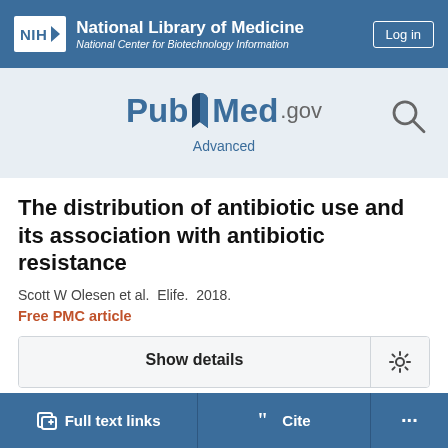NIH National Library of Medicine National Center for Biotechnology Information
[Figure (logo): PubMed.gov logo with search icon and Advanced link]
The distribution of antibiotic use and its association with antibiotic resistance
Scott W Olesen et al. Elife. 2018.
Free PMC article
Show details
Full text links
Cite